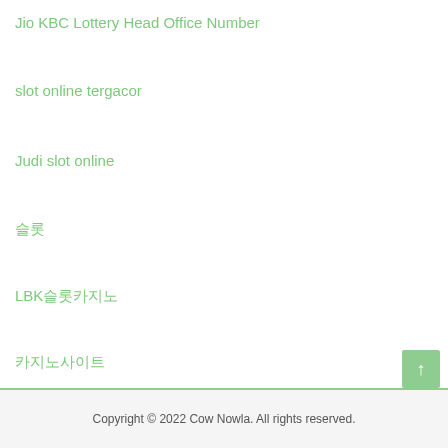Jio KBC Lottery Head Office Number
slot online tergacor
Judi slot online
슬롯
LBK슬롯카지노
카지노사이트
바카라사이트
Copyright © 2022 Cow Nowla. All rights reserved.